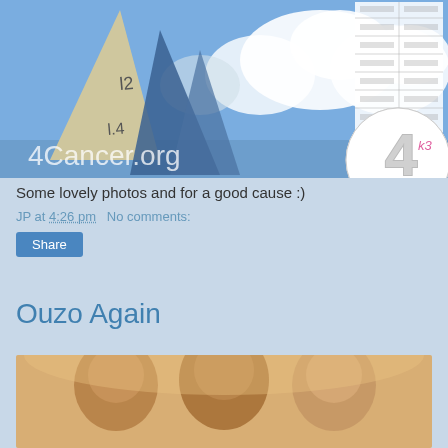[Figure (photo): Sailing boat with tall mast and sails against a cloudy blue sky, with 4Cancer.org logo and a circular '4' emblem overlay]
Some lovely photos and for a good cause :)
JP at 4:26 pm   No comments:
Share
Ouzo Again
[Figure (photo): Three men posing for a photo, shown from shoulders up, with warm lighting]